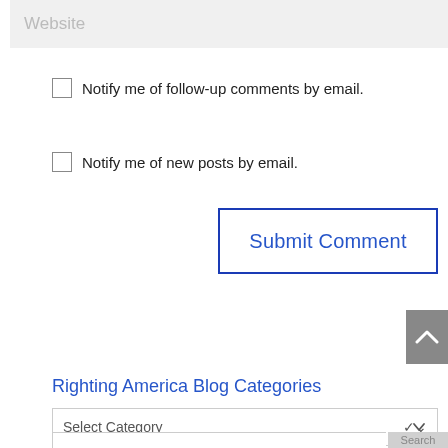[Figure (screenshot): Website input field with placeholder text 'Website' on a light gray background]
Notify me of follow-up comments by email.
Notify me of new posts by email.
[Figure (screenshot): Submit Comment button with blue border and blue text]
[Figure (screenshot): Gray scroll-to-top button with upward chevron arrow]
Righting America Blog Categories
[Figure (screenshot): Select Category dropdown menu]
[Figure (screenshot): Search bar partially visible at bottom]